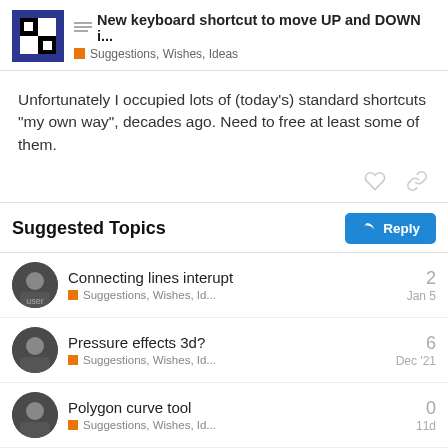New keyboard shortcut to move UP and DOWN i... | Suggestions, Wishes, Ideas
Unfortunately I occupied lots of (today's) standard shortcuts “my own way”, decades ago. Need to free at least some of them.
Suggested Topics
Connecting lines interupt | Suggestions, Wishes, Id... | 2 | Jan 5
Pressure effects 3d? | Suggestions, Wishes, Id... | 6 | Dec '21
Polygon curve tool | Suggestions, Wishes, Id... | 0 | 11d
Layer Solo Mode suggestions | 7/9